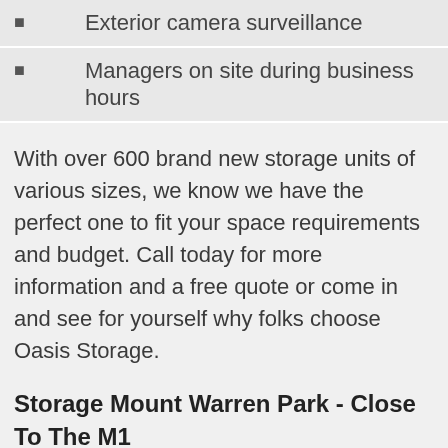Exterior camera surveillance
Managers on site during business hours
With over 600 brand new storage units of various sizes, we know we have the perfect one to fit your space requirements and budget. Call today for more information and a free quote or come in and see for yourself why folks choose Oasis Storage.
Storage Mount Warren Park - Close To The M1
Our storage centre is conveniently located just